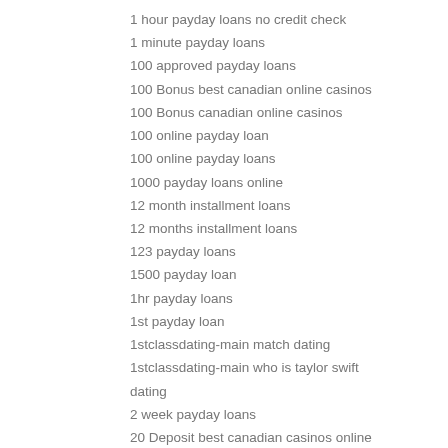1 hour payday loans no credit check
1 minute payday loans
100 approved payday loans
100 Bonus best canadian online casinos
100 Bonus canadian online casinos
100 online payday loan
100 online payday loans
1000 payday loans online
12 month installment loans
12 months installment loans
123 payday loans
1500 payday loan
1hr payday loans
1st payday loan
1stclassdating-main match dating
1stclassdating-main who is taylor swift dating
2 week payday loans
20 Deposit best canadian casinos online